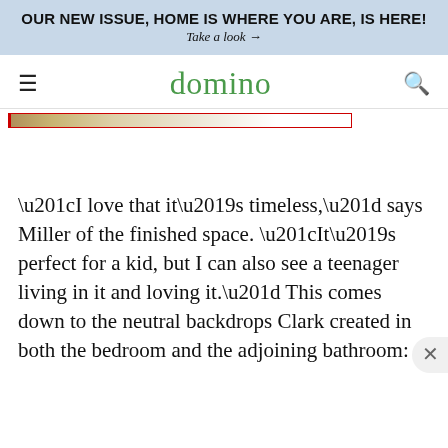OUR NEW ISSUE, HOME IS WHERE YOU ARE, IS HERE!
Take a look →
domino
[Figure (screenshot): Partial image strip showing a cropped interior/magazine image with a red border element]
“I love that it’s timeless,” says Miller of the finished space. “It’s perfect for a kid, but I can also see a teenager living in it and loving it.” This comes down to the neutral backdrops Clark created in both the bedroom and the adjoining bathroom: A